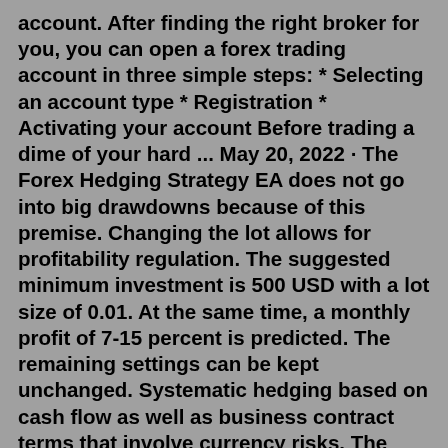account. After finding the right broker for you, you can open a forex trading account in three simple steps: * Selecting an account type * Registration * Activating your account Before trading a dime of your hard ... May 20, 2022 · The Forex Hedging Strategy EA does not go into big drawdowns because of this premise. Changing the lot allows for profitability regulation. The suggested minimum investment is 500 USD with a lot size of 0.01. At the same time, a monthly profit of 7-15 percent is predicted. The remaining settings can be kept unchanged. Systematic hedging based on cash flow as well as business contract terms that involve currency risks. The hedging process takes into account the sensitivity of the company's revenue with respect to different currency scenarios, favourable and adverse. FOREX OVERLAY: Specific strategy based on the company's decision to hedge part of its currency The top 3 traders with the highest % of profit will receive cash prizes of $250,000, $150,000, and $100,000 plus there's a bonus prize of $50,000 for the trader with